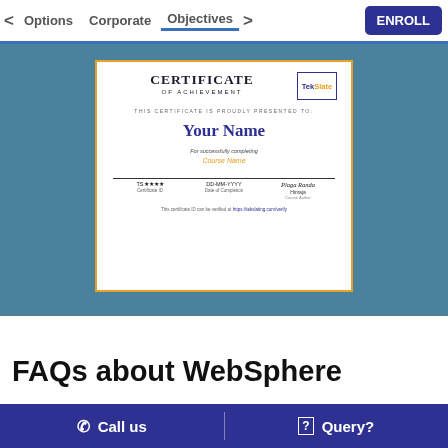< Options   Corporate   Objectives >   ENROLL
[Figure (illustration): Certificate of Achievement template showing TekSlate logo, 'Your Name' placeholder in blue, 'Course Name' in orange, fields for Certificate ID, Date of Completion, and signature for Himaja, with verification URL]
FAQs about WebSphere
Call us   |   Query?